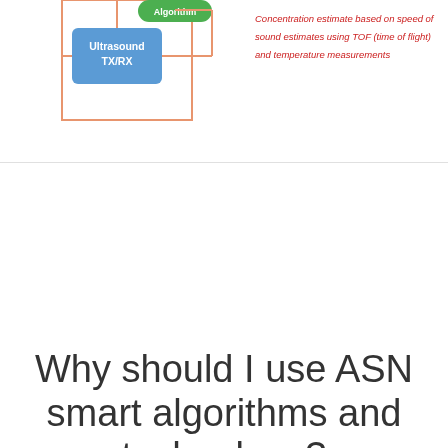[Figure (schematic): Partial engineering diagram showing an 'Ultrasound TX/RX' block (blue rectangle) connected to other elements with orange/coral connecting lines. A green rounded button labeled 'Algorithm' is partially visible at top.]
Concentration estimate based on speed of sound estimates using TOF (time of flight) and temperature measurements
Why should I use ASN smart algorithms and technology?
Radar and ultrasound